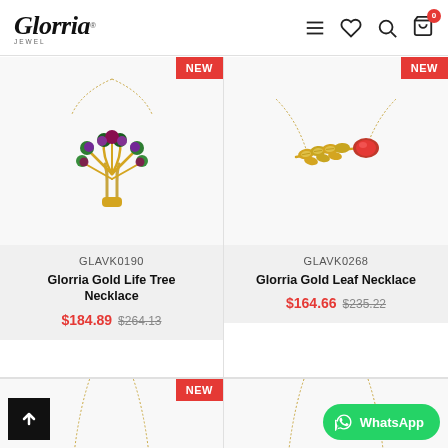Glorria jewel — navigation header with menu, wishlist, search, and cart icons
[Figure (photo): Gold life tree necklace with green and purple gemstones on white background, NEW badge]
[Figure (photo): Gold leaf branch necklace with diamonds and ruby gemstone on white background, NEW badge]
GLAVK0190
GLAVK0268
Glorria Gold Life Tree Necklace
Glorria Gold Leaf Necklace
$184.89  $264.13
$164.66  $235.22
[Figure (photo): Partial view of a new jewelry necklace at bottom left, NEW badge visible]
[Figure (photo): Partial view of another jewelry necklace at bottom right]